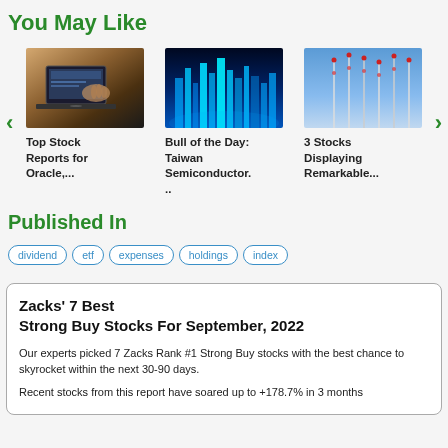You May Like
[Figure (photo): Laptop with person working on stock reports]
[Figure (photo): Blue glowing city or tech visualization]
[Figure (photo): Sky with red wind turbines or poles]
Top Stock Reports for Oracle,...
Bull of the Day: Taiwan Semiconductor....
3 Stocks Displaying Remarkable...
Published In
dividend
etf
expenses
holdings
index
Zacks' 7 Best Strong Buy Stocks For September, 2022
Our experts picked 7 Zacks Rank #1 Strong Buy stocks with the best chance to skyrocket within the next 30-90 days.
Recent stocks from this report have soared up to +178.7% in 3 months